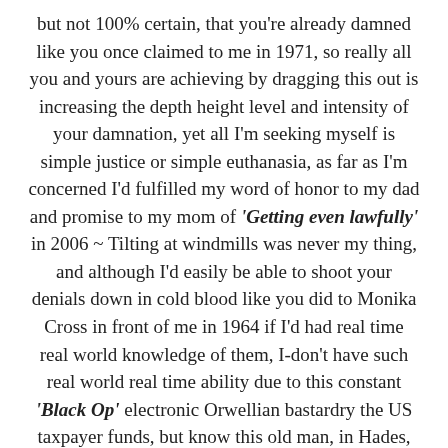but not 100% certain, that you're already damned like you once claimed to me in 1971, so really all you and yours are achieving by dragging this out is increasing the depth height level and intensity of your damnation, yet all I'm seeking myself is simple justice or simple euthanasia, as far as I'm concerned I'd fulfilled my word of honor to my dad and promise to my mom of 'Getting even lawfully' in 2006 ~ Tilting at windmills was never my thing, and although I'd easily be able to shoot your denials down in cold blood like you did to Monika Cross in front of me in 1964 if I'd had real time real world knowledge of them, I-don't have such real world real time ability due to this constant 'Black Op' electronic Orwellian bastardry the US taxpayer funds, but know this old man, in Hades, once paradise falls, I'll be a handful, waaay too much for you, your gods, and your devils to handle ~ See